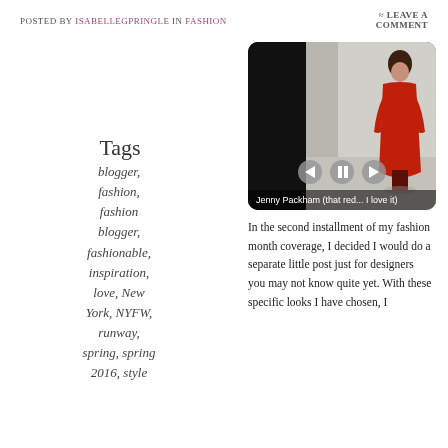Posted by isabellegpringle in Fashion ≈ Leave a Comment
Tags
blogger, fashion, fashion blogger, fashionable, inspiration, love, New York, NYFW, runway, spring, spring 2016, style
[Figure (screenshot): Video player showing a fashion runway model in a red long-sleeve gown by Jenny Packham, with playback controls and caption 'Jenny Packham (that red... I love it)']
In the second installment of my fashion month coverage, I decided I would do a separate little post just for designers you may not know quite yet. With these specific looks I have chosen, I